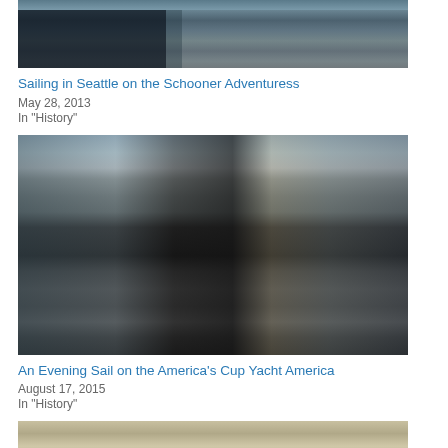[Figure (photo): Partial view of a dockside waterfront scene with a boat hull on the left and people walking on a pier in the background]
Sailing in Seattle on the Schooner Adventuress
May 28, 2013
In "History"
[Figure (photo): A large tall ship/schooner with black hull docked at a marina with city skyscrapers in the background; people visible on deck near rigging and nets]
An Evening Sail on the America's Cup Yacht America
August 17, 2015
In "History"
[Figure (photo): Partial view of another boat or waterfront scene at the bottom of the page]